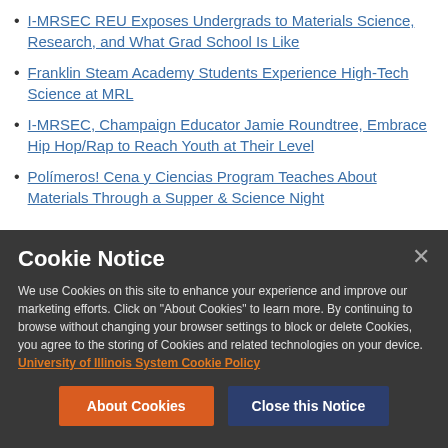I-MRSEC REU Exposes Undergrads to Materials Science, Research, and What Grad School Is Like
Franklin Steam Academy Students Experience High-Tech Science at MRL
I-MRSEC, Champaign Educator Jamie Roundtree, Embrace Hip Hop/Rap to Reach Youth at Their Level
Polímeros! Cena y Ciencias Program Teaches About Materials Through a Supper & Science Night
Cookie Notice
We use Cookies on this site to enhance your experience and improve our marketing efforts. Click on "About Cookies" to learn more. By continuing to browse without changing your browser settings to block or delete Cookies, you agree to the storing of Cookies and related technologies on your device. University of Illinois System Cookie Policy